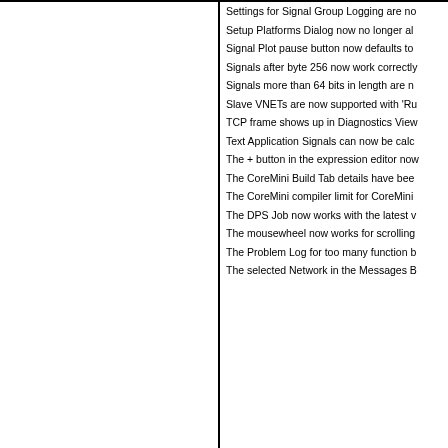Settings for Signal Group Logging are no
Setup Platforms Dialog now no longer al
Signal Plot pause button now defaults to
Signals after byte 256 now work correctly
Signals more than 64 bits in length are n
Slave VNETs are now supported with 'Ru
TCP frame shows up in Diagnostics View
Text Application Signals can now be calc
The + button in the expression editor now
The CoreMini Build Tab details have bee
The CoreMini compiler limit for CoreMini
The DPS Job now works with the latest v
The mousewheel now works for scrolling
The Problem Log for too many function b
The selected Network in the Messages B